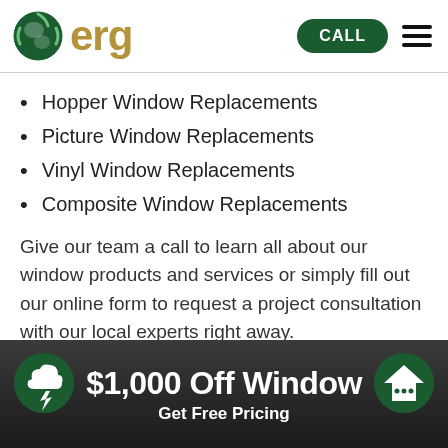erg — CALL [menu]
Hopper Window Replacements
Picture Window Replacements
Vinyl Window Replacements
Composite Window Replacements
Give our team a call to learn all about our window products and services or simply fill out our online form to request a project consultation with our local experts right away.
[Figure (infographic): Dark banner with green circular icons on left and right sides showing a lightning cloud and a house chat bubble. Large white bold text reads '$1,000 Off Window' with bold white subtitle 'Get Free Pricing']